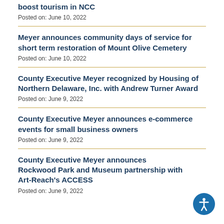boost tourism in NCC
Posted on: June 10, 2022
Meyer announces community days of service for short term restoration of Mount Olive Cemetery
Posted on: June 10, 2022
County Executive Meyer recognized by Housing of Northern Delaware, Inc. with Andrew Turner Award
Posted on: June 9, 2022
County Executive Meyer announces e-commerce events for small business owners
Posted on: June 9, 2022
County Executive Meyer announces Rockwood Park and Museum partnership with Art-Reach's ACCESS
Posted on: June 9, 2022